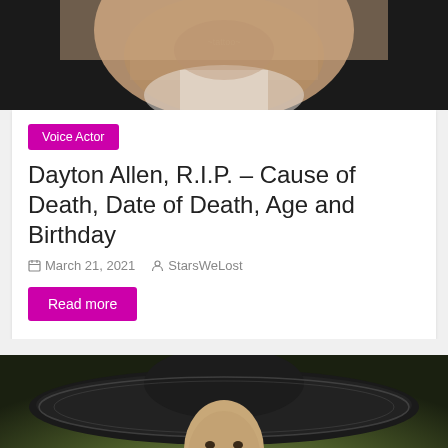[Figure (photo): Partial photo of a tattooed person in a white shirt, cropped at the top of the page]
Voice Actor
Dayton Allen, R.I.P. – Cause of Death, Date of Death, Age and Birthday
March 21, 2021   StarsWeLost
Read more
[Figure (photo): Man wearing a large decorative sombrero and dark clothing, with a mustache, looking seriously at the camera against a green-brown background]